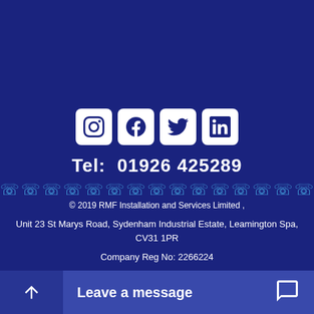[Figure (illustration): Four social media icons in white square boxes: Instagram, Facebook, Twitter, LinkedIn]
Tel:  01926 425289
[Figure (illustration): Row of decorative blue phone/comma symbols as a divider]
© 2019 RMF Installation and Services Limited ,
Unit 23 St Marys Road, Sydenham Industrial Estate, Leamington Spa, CV31 1PR
Company Reg No: 2266224
Terms & Conditions
[Figure (illustration): Bottom bar with scroll-to-top arrow button on left and 'Leave a message' chat button on right]